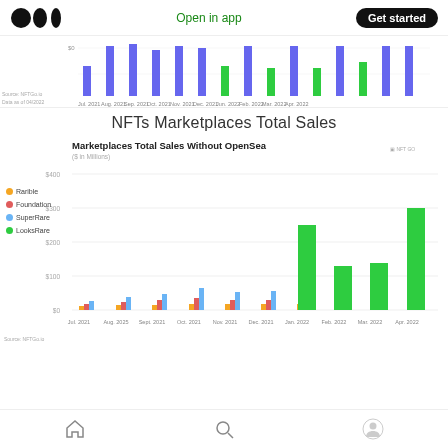Medium logo | Open in app | Get started
[Figure (bar-chart): Partial bar chart visible at top of page showing NFT sales data with blue bars and some green bars]
NFTs Marketplaces Total Sales
[Figure (stacked-bar-chart): Marketplaces Total Sales Without OpenSea]
Home | Search | Profile